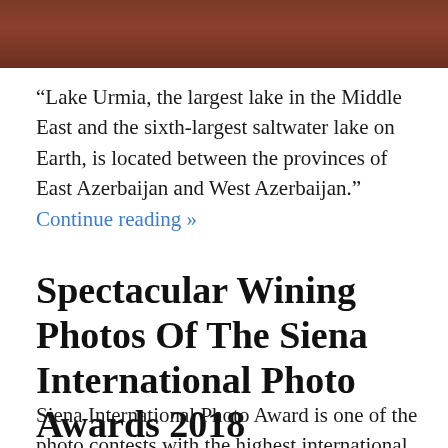[Figure (photo): Top portion of a reddish-brown landscape photo, partially cropped at the top of the page]
“Lake Urmia, the largest lake in the Middle East and the sixth-largest saltwater lake on Earth, is located between the provinces of East Azerbaijan and West Azerbaijan.” Continue reading »
Spectacular Wining Photos Of The Siena International Photo Awards 2018
Siena International Photo Award is one of the photo contests with the highest international